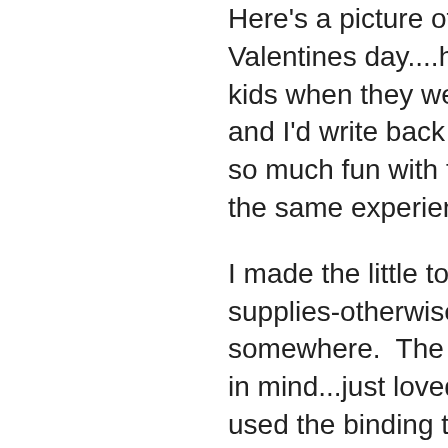Here's a picture of what I gave m Valentines day....her own Journal kids when they were little, they'd and I'd write back and leave it on so much fun with this and I still h the same experience.
I made the little tote bag to hold t supplies-otherwise I'm sure it wo somewhere.  The tote is a baby b in mind...just loved the SOFT fee used the binding to make the str
Tonight I'm off on  a weekend ro Realtor at my moms house (abo despite the bad economy we are We'll declutter some more and d
Speaking of thrifting....check out